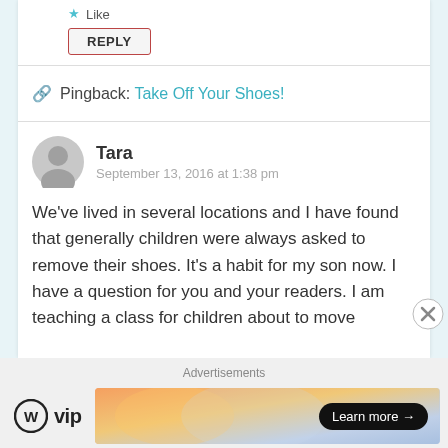Like
REPLY
Pingback: Take Off Your Shoes!
Tara
September 13, 2016 at 1:38 pm
We've lived in several locations and I have found that generally children were always asked to remove their shoes. It's a habit for my son now. I have a question for you and your readers. I am teaching a class for children about to move
Advertisements
[Figure (logo): WordPress VIP logo with circle W icon and 'vip' text]
[Figure (infographic): Colorful gradient advertisement banner with 'Learn more →' button]